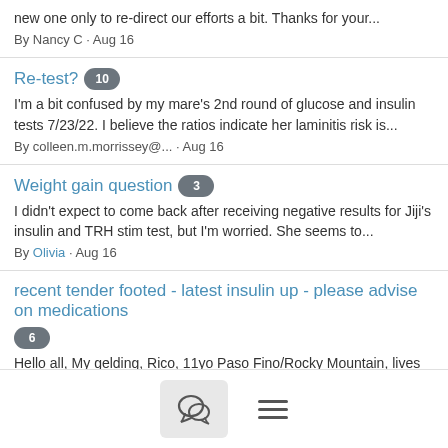new one only to re-direct our efforts a bit. Thanks for your...
By Nancy C · Aug 16
Re-test? [10]
I'm a bit confused by my mare's 2nd round of glucose and insulin tests 7/23/22. I believe the ratios indicate her laminitis risk is...
By colleen.m.morrissey@... · Aug 16
Weight gain question [3]
I didn't expect to come back after receiving negative results for Jiji's insulin and TRH stim test, but I'm worried. She seems to...
By Olivia · Aug 16
recent tender footed - latest insulin up - please advise on medications [6]
Hello all, My gelding, Rico, 11yo Paso Fino/Rocky Mountain, lives on a dry track since December 2021. I was hoping that...
By Jenny Heishman · Aug 16
Need for Minerals [?]
[Figure (screenshot): Bottom navigation bar with chat bubble icon button and hamburger menu icon]